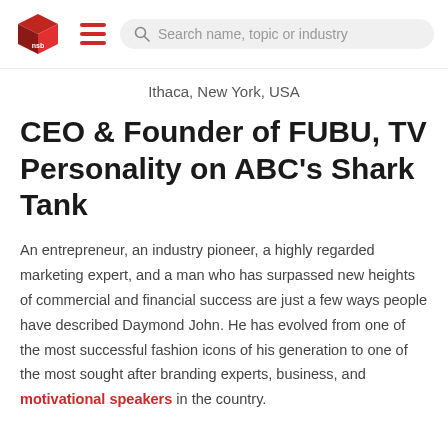NSB logo | menu | Search name, topic or industry
Ithaca, New York, USA
CEO & Founder of FUBU, TV Personality on ABC's Shark Tank
An entrepreneur, an industry pioneer, a highly regarded marketing expert, and a man who has surpassed new heights of commercial and financial success are just a few ways people have described Daymond John. He has evolved from one of the most successful fashion icons of his generation to one of the most sought after branding experts, business, and motivational speakers in the country.